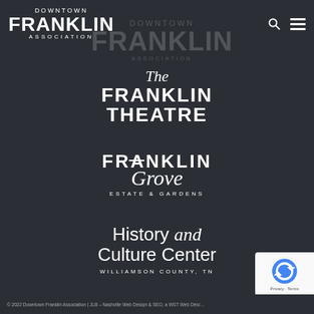[Figure (logo): Downtown Franklin Association logo with search and hamburger menu icons in header]
[Figure (logo): Watermark/ghost logo of Downtown Franklin Association in background]
[Figure (logo): The Franklin Theatre logo with italic 'The' and bold uppercase 'FRANKLIN THEATRE']
[Figure (logo): Franklin Grove Estate & Gardens logo with uppercase FRANKLIN and script Grove]
[Figure (logo): History and Culture Center Williamson County TN logo]
[Figure (logo): reCAPTCHA badge with Privacy and Terms links]
© 2022 Downtown Franklin Association | JLB – Nashville Web Design & SEO, a WST Web Desi…